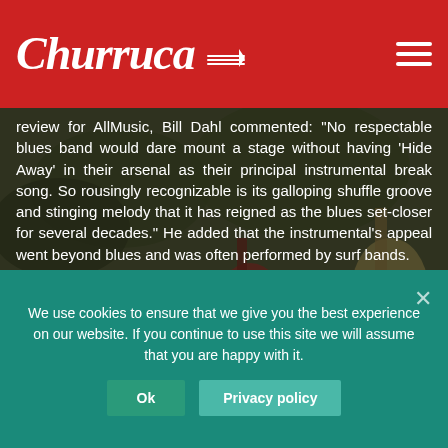Churruca [logo with guitar icon]
review for AllMusic, Bill Dahl commented: “No respectable blues band would dare mount a stage without having ‘Hide Away’ in their arsenal as their principal instrumental break song. So rousingly recognizable is its galloping shuffle groove and stinging melody that it has reigned as the blues set-closer for several decades.” He added that the instrumental’s appeal went beyond blues and was often performed by surf bands.
SHARE  TWEET  PIN
We use cookies to ensure that we give you the best experience on our website. If you continue to use this site we will assume that you are happy with it.